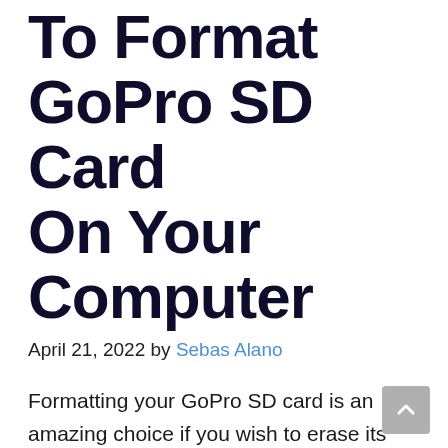To Format GoPro SD Card On Your Computer
April 21, 2022 by Sebas Alano
Formatting your GoPro SD card is an amazing choice if you wish to erase its materials or take care of any kind of concerns. It removes all the saved information, so make certain to backup any